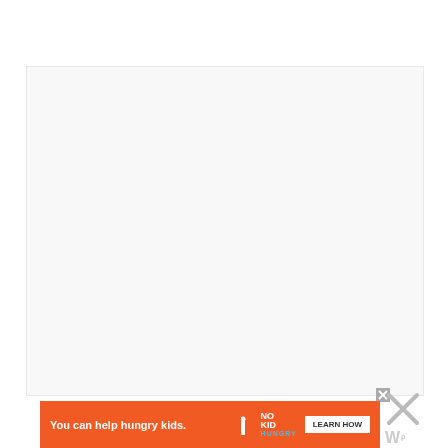[Figure (other): Large light gray/white empty content area placeholder box]
[Figure (other): Orange advertisement banner for No Kid Hungry charity with text 'You can help hungry kids.' and 'LEARN HOW' button, with a small close X button, a large X close button, and a WordPress-style logo mark]